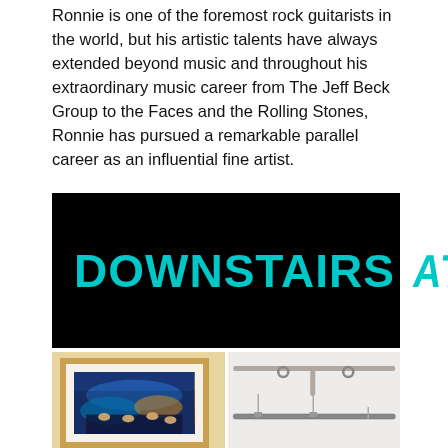Ronnie is one of the foremost rock guitarists in the world, but his artistic talents have always extended beyond music and throughout his extraordinary music career from The Jeff Beck Group to the Faces and the Rolling Stones, Ronnie has pursued a remarkable parallel career as an influential fine artist.
[Figure (other): Black banner with bold cyan text reading 'DOWNSTAIRS AT' - a venue or exhibition sign logo]
[Figure (photo): Two side-by-side photos: left shows a framed colorful artwork (painting with figures in blue/orange tones) in a wooden frame on a white gallery wall; right shows a gallery ceiling with white track lighting rails and hanging hardware]